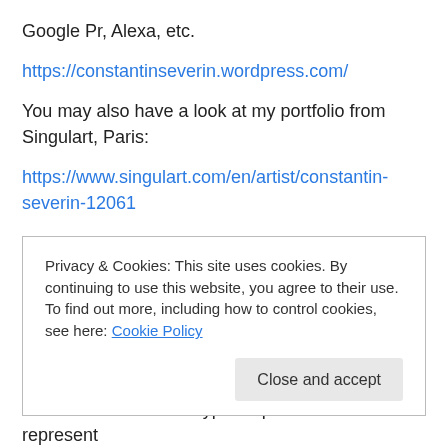Google Pr, Alexa, etc.
https://constantinseverin.wordpress.com/
You may also have a look at my portfolio from Singulart, Paris:
https://www.singulart.com/en/artist/constantin-severin-12061
Gagosian Gallery and Taschen publisher found my concept very interesting, some years ago. As a full time
Privacy & Cookies: This site uses cookies. By continuing to use this website, you agree to their use.
To find out more, including how to control cookies, see here: Cookie Policy
Close and accept
movement. The Archetypal Expressionism could represent